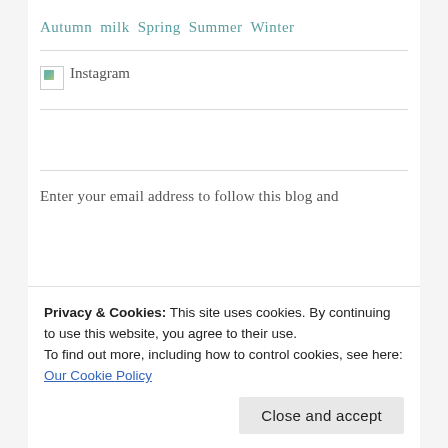Autumn milk Spring Summer Winter
[Figure (other): Instagram image placeholder with small icon and label 'Instagram']
Enter your email address to follow this blog and
Privacy & Cookies: This site uses cookies. By continuing to use this website, you agree to their use.
To find out more, including how to control cookies, see here: Our Cookie Policy
Close and accept
Follow